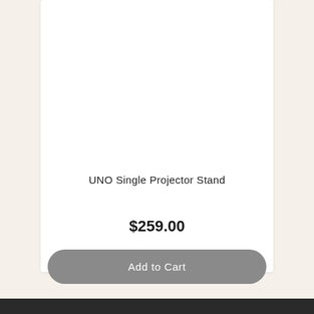UNO Single Projector Stand
$259.00
Add to Cart